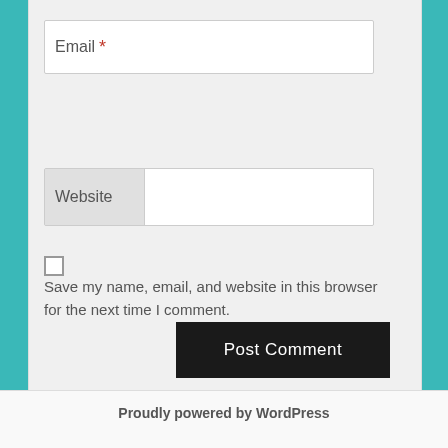Email *
Website
Save my name, email, and website in this browser for the next time I comment.
Post Comment
Proudly powered by WordPress